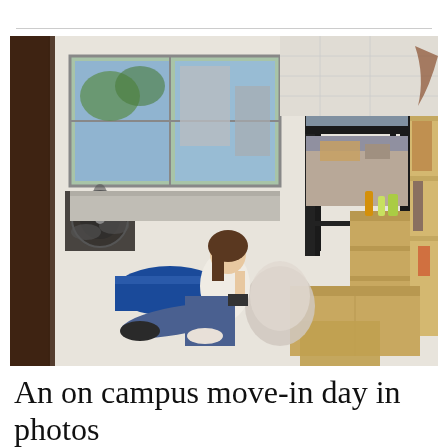[Figure (photo): A college student sitting on the floor of a dorm room surrounded by moving boxes, bags, and personal belongings during move-in day. Bunk beds are visible in the background along with a window, fan, shelving unit with items, and cardboard boxes on the floor.]
An on campus move-in day in photos